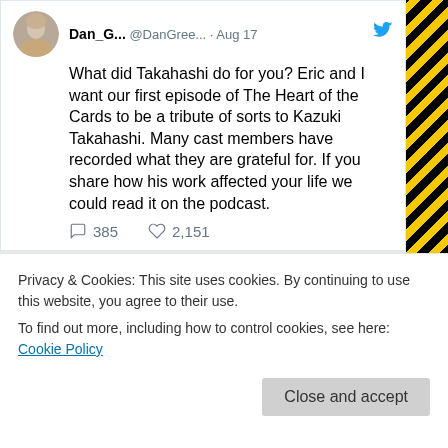Dan_G... @DanGree... · Aug 17 — What did Takahashi do for you? Eric and I want our first episode of The Heart of the Cards to be a tribute of sorts to Kazuki Takahashi. Many cast members have recorded what they are grateful for. If you share how his work affected your life we could read it on the podcast.
385 replies · 2,151 likes
Matt Ve... @The_Sup... · Aug 15 — #SongOfTheDay!

Into The Deep (Man With A Mission)
Privacy & Cookies: This site uses cookies. By continuing to use this website, you agree to their use.
To find out more, including how to control cookies, see here: Cookie Policy
Close and accept